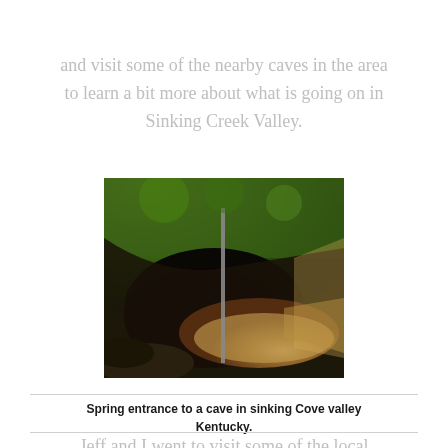and visit some of the nearby caves in the area to learn a bit more about what is going on in Sinking Creek Valley.
[Figure (photo): Spring entrance to a cave in sinking Cove valley Kentucky. Shows mossy rock overhang with brownish-orange water flowing through a cave entrance.]
Spring entrance to a cave in sinking Cove valley Kentucky.
Jeff and I went to visit some of the local